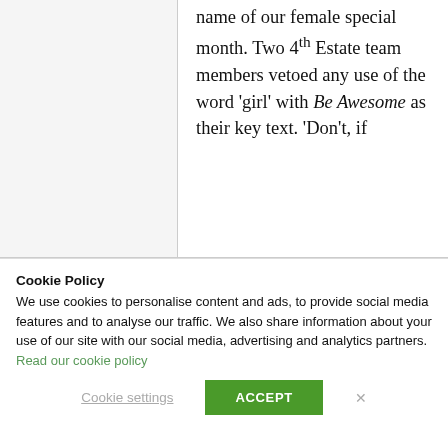name of our female special month. Two 4th Estate team members vetoed any use of the word 'girl' with Be Awesome as their key text. 'Don't, if
Cookie Policy
We use cookies to personalise content and ads, to provide social media features and to analyse our traffic. We also share information about your use of our site with our social media, advertising and analytics partners. Read our cookie policy